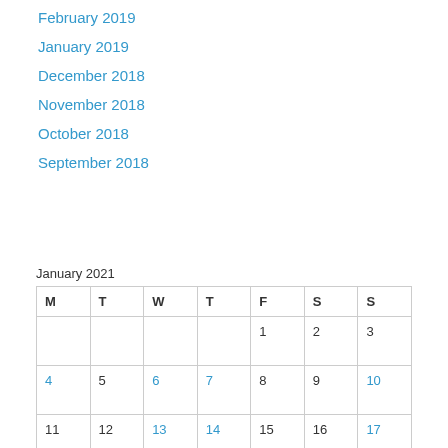February 2019
January 2019
December 2018
November 2018
October 2018
September 2018
January 2021
| M | T | W | T | F | S | S |
| --- | --- | --- | --- | --- | --- | --- |
|  |  |  |  | 1 | 2 | 3 |
| 4 | 5 | 6 | 7 | 8 | 9 | 10 |
| 11 | 12 | 13 | 14 | 15 | 16 | 17 |
| 18 | 19 | 20 | 21 | 22 | 23 | 24 |